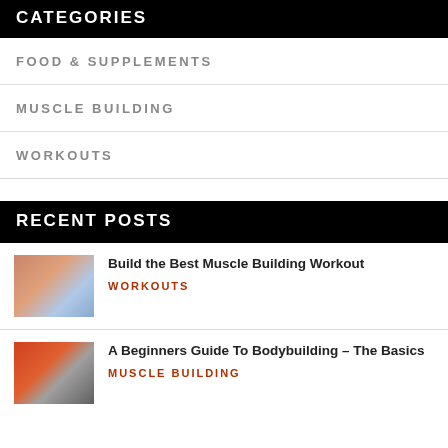CATEGORIES
FOOD & SUPPLEMENTS
MUSCLE BUILDING
WORKOUTS
RECENT POSTS
Build the Best Muscle Building Workout — WORKOUTS
[Figure (photo): Person at beach, muscle building]
A Beginners Guide To Bodybuilding – The Basics — MUSCLE BUILDING
[Figure (photo): Person doing bodybuilding exercise with red background]